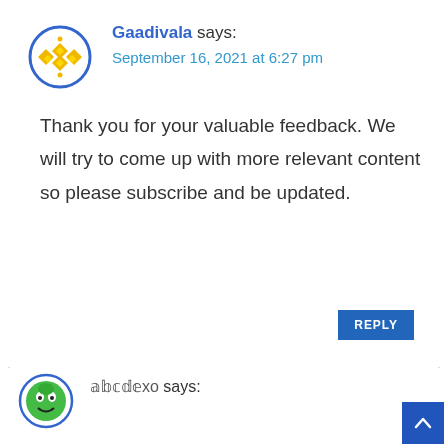[Figure (illustration): Circular avatar with gold geometric diamond/flower pattern on white background, blue border]
Gaadivala says:
September 16, 2021 at 6:27 pm
Thank you for your valuable feedback. We will try to come up with more relevant content so please subscribe and be updated.
REPLY
[Figure (illustration): Circular avatar with green cartoon character/globe, blue border, partially visible]
𝕒𝕓𝕔𝕕𝕖xo says: